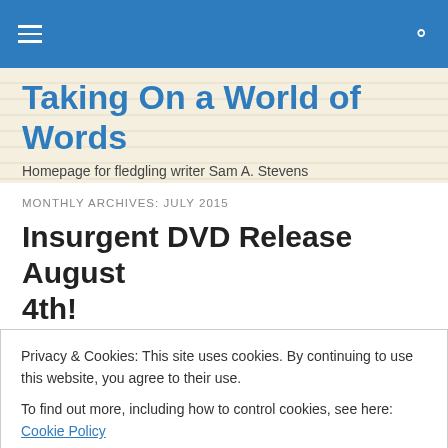Taking On a World of Words
Homepage for fledgling writer Sam A. Stevens
MONTHLY ARCHIVES: JULY 2015
Insurgent DVD Release August 4th!
Privacy & Cookies: This site uses cookies. By continuing to use this website, you agree to their use.
To find out more, including how to control cookies, see here: Cookie Policy
Close and accept
together in a weird order. Not my happiest post. Well